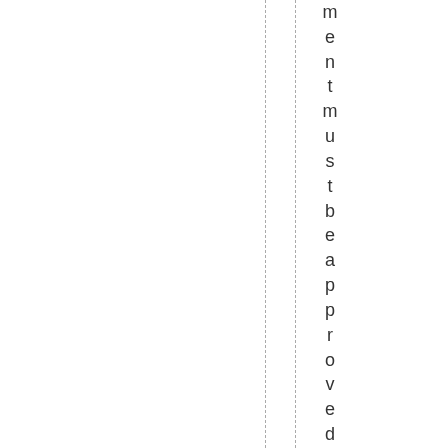ment must be approved by the MCCS (Mic